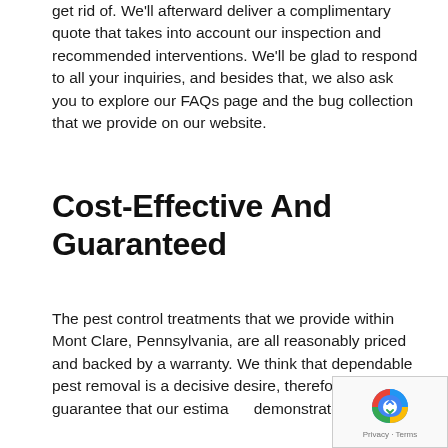get rid of. We'll afterward deliver a complimentary quote that takes into account our inspection and recommended interventions. We'll be glad to respond to all your inquiries, and besides that, we also ask you to explore our FAQs page and the bug collection that we provide on our website.
Cost-Effective And Guaranteed
The pest control treatments that we provide within Mont Clare, Pennsylvania, are all reasonably priced and backed by a warranty. We think that dependable pest removal is a decisive desire, therefore, we guarantee that our estima demonstrates this.